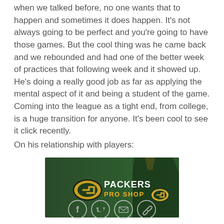when we talked before, no one wants that to happen and sometimes it does happen. It's not always going to be perfect and you're going to have those games. But the cool thing was he came back and we rebounded and had one of the better week of practices that following week and it showed up. He's doing a really good job as far as applying the mental aspect of it and being a student of the game. Coming into the league as a tight end, from college, is a huge transition for anyone. It's been cool to see it click recently.
On his relationship with players:
[Figure (photo): Packers Pro Shop advertisement banner featuring a green jersey and the Packers logo]
[Figure (infographic): Social sharing icons: Facebook, Twitter, Email, Link]